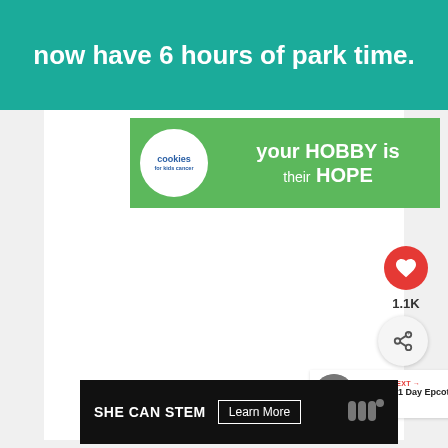now have 6 hours of park time.
[Figure (advertisement): Green advertisement banner: 'cookies for kids cancer' logo on left, text 'your HOBBY is their HOPE' on right, with close button]
[Figure (infographic): Red heart/like button with count 1.1K and a share button below it]
[Figure (infographic): What's Next card with Epcot sphere thumbnail and text 'Ultimate 1 Day Epcot Itinerary']
[Figure (advertisement): Dark banner advertisement: 'SHE CAN STEM Learn More' with logo on right]